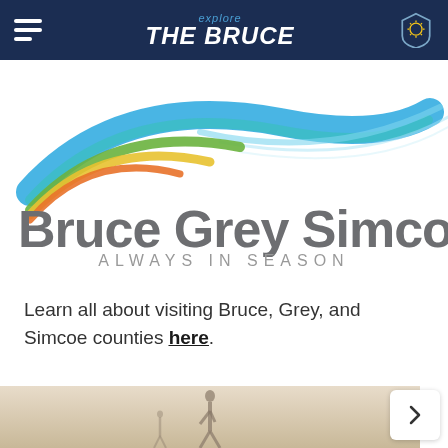[Figure (screenshot): Explore the Bruce navigation bar with hamburger menu on left, 'explore the BRUCE' logo in center, and shield/sun icon on right, on dark navy background]
[Figure (logo): Bruce Grey Simcoe 'Always in Season' logo with colorful wave swoosh in blue, teal, green, yellow, and orange above the text]
Learn all about visiting Bruce, Grey, and Simcoe counties here.
[Figure (photo): Photo strip showing a misty/foggy outdoor scene with a silhouetted person in background]